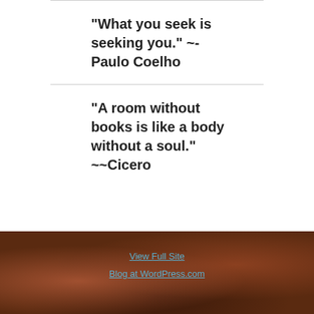“What you seek is seeking you.” ~-Paulo Coelho
“A room without books is like a body without a soul.” ~~Cicero
View Full Site
Blog at WordPress.com